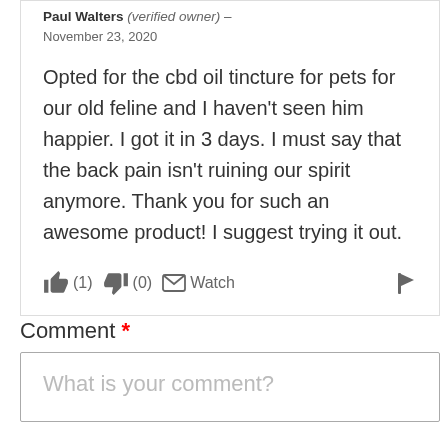Paul Walters (verified owner) – November 23, 2020
Opted for the cbd oil tincture for pets for our old feline and I haven't seen him happier. I got it in 3 days. I must say that the back pain isn't ruining our spirit anymore. Thank you for such an awesome product! I suggest trying it out.
👍 (1) 👎 (0) ✉ Watch 🚩
Comment *
What is your comment?